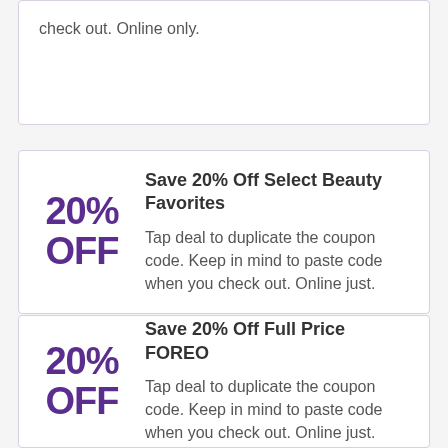check out. Online only.
Save 20% Off Select Beauty Favorites
Tap deal to duplicate the coupon code. Keep in mind to paste code when you check out. Online just.
Save 20% Off Full Price FOREO
Tap deal to duplicate the coupon code. Keep in mind to paste code when you check out. Online just.